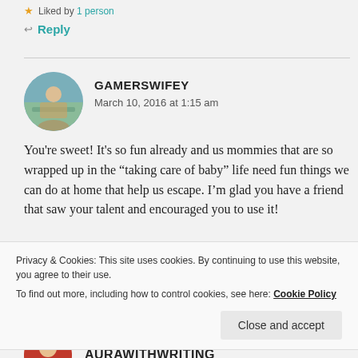★ Liked by 1 person
↩ Reply
GAMERSWIFEY
March 10, 2016 at 1:15 am
You're sweet! It's so fun already and us mommies that are so wrapped up in the "taking care of baby" life need fun things we can do at home that help us escape. I'm glad you have a friend that saw your talent and encouraged you to use it!
Privacy & Cookies: This site uses cookies. By continuing to use this website, you agree to their use.
To find out more, including how to control cookies, see here: Cookie Policy
Close and accept
AURAWITHWRITING